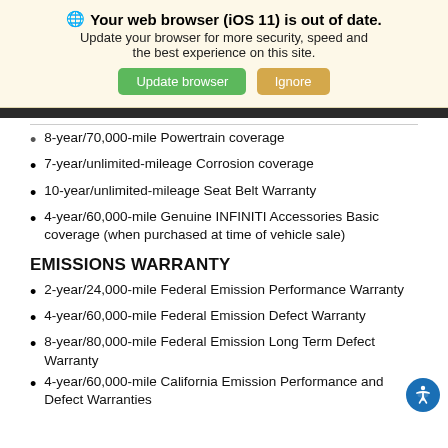[Figure (screenshot): Browser update notification banner with globe icon, bold title 'Your web browser (iOS 11) is out of date.', subtitle 'Update your browser for more security, speed and the best experience on this site.', and two buttons: green 'Update browser' and tan 'Ignore']
8-year/70,000-mile Powertrain coverage
7-year/unlimited-mileage Corrosion coverage
10-year/unlimited-mileage Seat Belt Warranty
4-year/60,000-mile Genuine INFINITI Accessories Basic coverage (when purchased at time of vehicle sale)
EMISSIONS WARRANTY
2-year/24,000-mile Federal Emission Performance Warranty
4-year/60,000-mile Federal Emission Defect Warranty
8-year/80,000-mile Federal Emission Long Term Defect Warranty
4-year/60,000-mile California Emission Performance and Defect Warranties